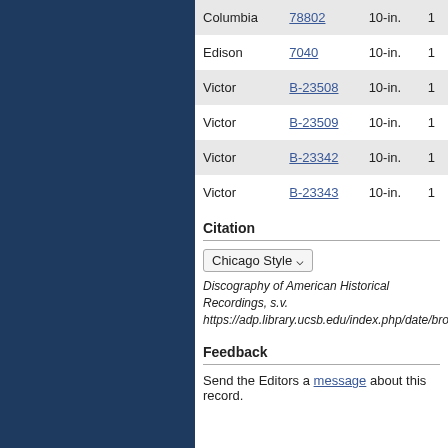| Label | Catalog | Size |  |
| --- | --- | --- | --- |
| Columbia | 78802 | 10-in. | 1 |
| Edison | 7040 | 10-in. | 1 |
| Victor | B-23508 | 10-in. | 1 |
| Victor | B-23509 | 10-in. | 1 |
| Victor | B-23342 | 10-in. | 1 |
| Victor | B-23343 | 10-in. | 1 |
Citation
Chicago Style ▾
Discography of American Historical Recordings, s.v. https://adp.library.ucsb.edu/index.php/date/browse
Feedback
Send the Editors a message about this record.